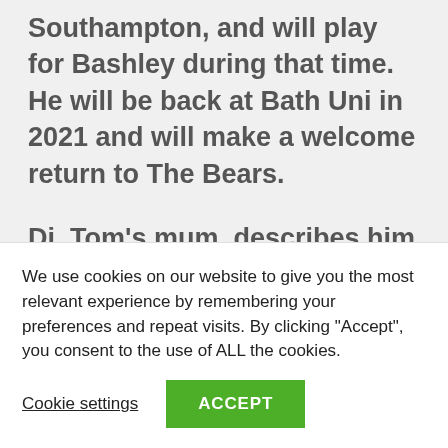Southampton, and will play for Bashley during that time. He will be back at Bath Uni in 2021 and will make a welcome return to The Bears.
Di, Tom's mum, describes him as perfect in his imperfection. The Bears would challenge that statement, believing there are shades of Mary
We use cookies on our website to give you the most relevant experience by remembering your preferences and repeat visits. By clicking “Accept”, you consent to the use of ALL the cookies.
Cookie settings
ACCEPT